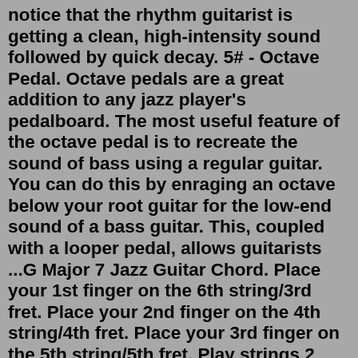notice that the rhythm guitarist is getting a clean, high-intensity sound followed by quick decay. 5# - Octave Pedal. Octave pedals are a great addition to any jazz player's pedalboard. The most useful feature of the octave pedal is to recreate the sound of bass using a regular guitar. You can do this by enraging an octave below your root guitar for the low-end sound of a bass guitar. This, coupled with a looper pedal, allows guitarists ...G Major 7 Jazz Guitar Chord. Place your 1st finger on the 6th string/3rd fret. Place your 2nd finger on the 4th string/4th fret. Place your 3rd finger on the 5th string/5th fret. Play strings 2 and 3 open. Mute string 1. Moving around the horn again, we have D Major 7, comprised of D, F#, A, and C#. A Crash Course in Jazz Rhythm Guitar is also a practical approach to learning the whole fretboard. It gives you a solid foundation which can be used in any genre of music. Be Versatile. Whether you're playing in a duo or in a big band, you'll have the foundation and confidence to hang with any group.Jazz guitarists must have command of a wide variety of rhythm